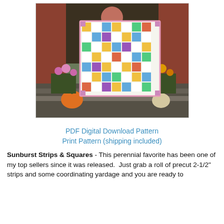[Figure (photo): Woman holding up a colorful patchwork quilt (Sunburst Strips & Squares pattern) on steps of a brick building with pumpkins and flowers in background]
PDF Digital Download Pattern
Print Pattern (shipping included)
Sunburst Strips & Squares - This perennial favorite has been one of my top sellers since it was released.  Just grab a roll of precut 2-1/2" strips and some coordinating yardage and you are ready to